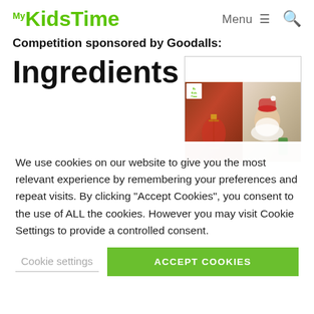MyKidsTime  Menu  🔍
Competition sponsored by Goodalls:
Ingredients
[Figure (photo): Two Christmas-themed photos side by side: a red ornamental lantern cookie decoration on the left, and a Santa Claus figurine with cookies on the right.]
We use cookies on our website to give you the most relevant experience by remembering your preferences and repeat visits. By clicking "Accept Cookies", you consent to the use of ALL the cookies. However you may visit Cookie Settings to provide a controlled consent.
Cookie settings    ACCEPT COOKIES